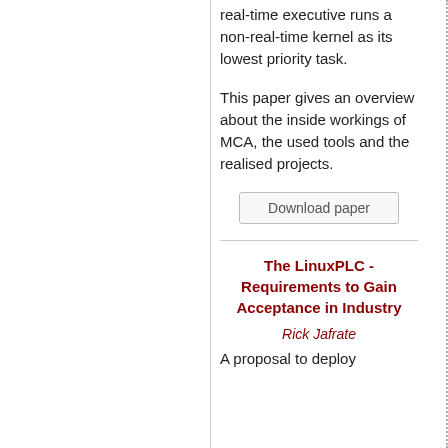real-time executive runs a non-real-time kernel as its lowest priority task.
This paper gives an overview about the inside workings of MCA, the used tools and the realised projects.
Download paper
The LinuxPLC - Requirements to Gain Acceptance in Industry
Rick Jafrate
A proposal to deploy